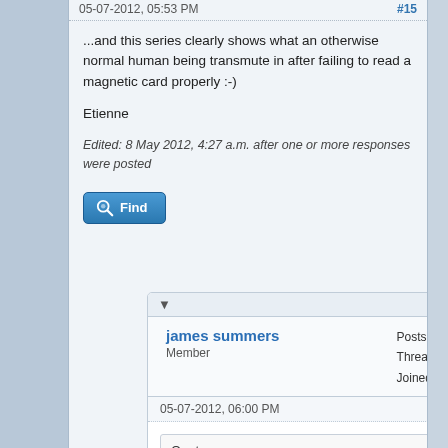05-07-2012, 05:53 PM
#15
...and this series clearly shows what an otherwise normal human being transmute in after failing to read a magnetic card properly :-)
Etienne
Edited: 8 May 2012, 4:27 a.m. after one or more responses were posted
[Figure (other): Find button with magnifying glass icon]
james summers
Member
Posts: 137 Threads: 11 Joined: Jul 2006
05-07-2012, 06:00 PM
#16
Quote: ...and this series clearly shows in what an